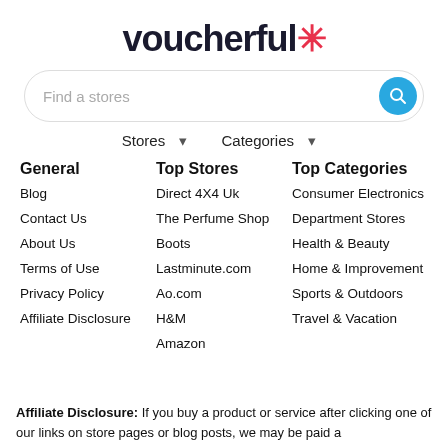[Figure (logo): voucherful* logo with red asterisk]
[Figure (other): Search bar with placeholder 'Find a stores' and blue search button]
Stores ↓   Categories ↓
General
Blog
Contact Us
About Us
Terms of Use
Privacy Policy
Affiliate Disclosure
Top Stores
Direct 4X4 Uk
The Perfume Shop
Boots
Lastminute.com
Ao.com
H&M
Amazon
Top Categories
Consumer Electronics
Department Stores
Health & Beauty
Home & Improvement
Sports & Outdoors
Travel & Vacation
Affiliate Disclosure: If you buy a product or service after clicking one of our links on store pages or blog posts, we may be paid a